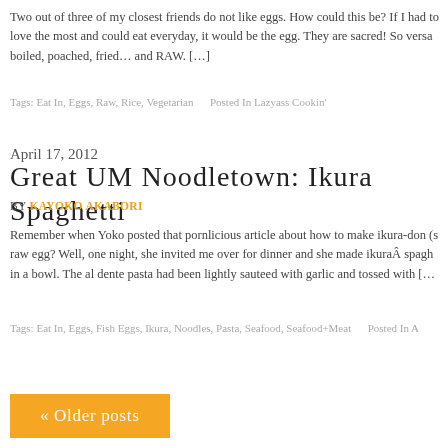Two out of three of my closest friends do not like eggs. How could this be? If I had to love the most and could eat everyday, it would be the egg. They are sacred! So versatile: boiled, poached, fried… and RAW. […]
Tags: Eat In, Eggs, Raw, Rice, Vegetarian   Posted In Lazyass Cookin'
April 17, 2012
Great UM Noodletown: Ikura Spaghetti
BY KAYOKO AKABORI
Remember when Yoko posted that pornlicious article about how to make ikura-don (s raw egg? Well, one night, she invited me over for dinner and she made ikuraÂ spagh in a bowl. The al dente pasta had been lightly sauteed with garlic and tossed with […
Tags: Eat In, Eggs, Fish Eggs, Ikura, Noodles, Pasta, Seafood, Seafood+Meat   Posted In A
« Older posts